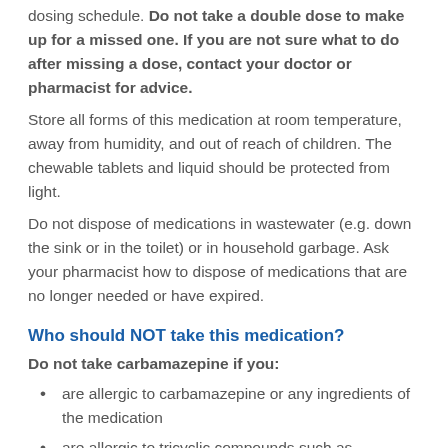dosing schedule. Do not take a double dose to make up for a missed one. If you are not sure what to do after missing a dose, contact your doctor or pharmacist for advice.
Store all forms of this medication at room temperature, away from humidity, and out of reach of children. The chewable tablets and liquid should be protected from light.
Do not dispose of medications in wastewater (e.g. down the sink or in the toilet) or in household garbage. Ask your pharmacist how to dispose of medications that are no longer needed or have expired.
Who should NOT take this medication?
Do not take carbamazepine if you:
are allergic to carbamazepine or any ingredients of the medication
are allergic to tricyclic compounds such as amitriptyline, trimipramine, or imipramine
have a history of acute intermittent porphyria